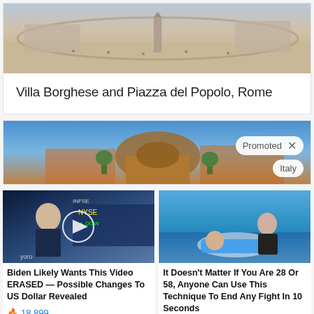[Figure (photo): Aerial photo of Piazza del Popolo and Villa Borghese, Rome]
Villa Borghese and Piazza del Popolo, Rome
[Figure (photo): Panoramic photo of Italy with Promoted tag and X close button]
[Figure (photo): Biden video thumbnail with play button]
[Figure (photo): Martial arts fight technique photo]
Biden Likely Wants This Video ERASED — Possible Changes To US Dollar Revealed
18,899
It Doesn't Matter If You Are 28 Or 58, Anyone Can Use This Technique To End Any Fight In 10 Seconds
46,503